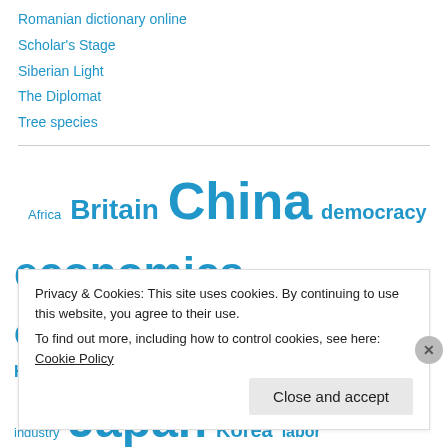Romanian dictionary online
Scholar's Stage
Siberian Light
The Diplomat
Tree species
[Figure (infographic): Tag cloud with topic words in various sizes: Africa (small), Britain (medium), China (large), democracy (medium), economics (very large), education (large), food (small), France (medium), Germany (large), Hawai'i (medium), Indonesia (medium), industry (small), Japan (very large), Korea (medium), labor (medium), language (very large)]
Privacy & Cookies: This site uses cookies. By continuing to use this website, you agree to their use.
To find out more, including how to control cookies, see here: Cookie Policy
Close and accept